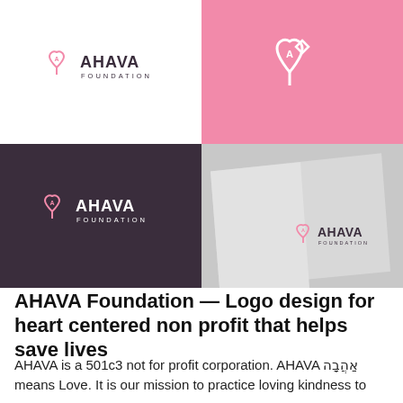[Figure (logo): Four-panel grid showing AHAVA Foundation logo in different colorways: top-left white background, top-right pink background, bottom-left dark purple background, bottom-right gray card/stationery mockup]
AHAVA Foundation — Logo design for heart centered non profit that helps save lives
AHAVA is a 501c3 not for profit corporation. AHAVA אַהֲבָה means Love. It is our mission to practice loving kindness to